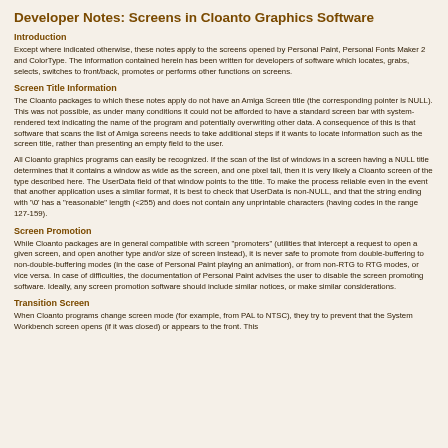Developer Notes: Screens in Cloanto Graphics Software
Introduction
Except where indicated otherwise, these notes apply to the screens opened by Personal Paint, Personal Fonts Maker 2 and ColorType. The information contained herein has been written for developers of software which locates, grabs, selects, switches to front/back, promotes or performs other functions on screens.
Screen Title Information
The Cloanto packages to which these notes apply do not have an Amiga Screen title (the corresponding pointer is NULL). This was not possible, as under many conditions it could not be afforded to have a standard screen bar with system-rendered text indicating the name of the program and potentially overwriting other data. A consequence of this is that software that scans the list of Amiga screens needs to take additional steps if it wants to locate information such as the screen title, rather than presenting an empty field to the user.
All Cloanto graphics programs can easily be recognized. If the scan of the list of windows in a screen having a NULL title determines that it contains a window as wide as the screen, and one pixel tall, then it is very likely a Cloanto screen of the type described here. The UserData field of that window points to the title. To make the process reliable even in the event that another application uses a similar format, it is best to check that UserData is non-NULL, and that the string ending with '\0' has a "reasonable" length (<255) and does not contain any unprintable characters (having codes in the range 127-159).
Screen Promotion
While Cloanto packages are in general compatible with screen "promoters" (utilities that intercept a request to open a given screen, and open another type and/or size of screen instead), it is never safe to promote from double-buffering to non-double-buffering modes (in the case of Personal Paint playing an animation), or from non-RTG to RTG modes, or vice versa. In case of difficulties, the documentation of Personal Paint advises the user to disable the screen promoting software. Ideally, any screen promotion software should include similar notices, or make similar considerations.
Transition Screen
When Cloanto programs change screen mode (for example, from PAL to NTSC), they try to prevent that the System Workbench screen opens (if it was closed) or appears to the front. This